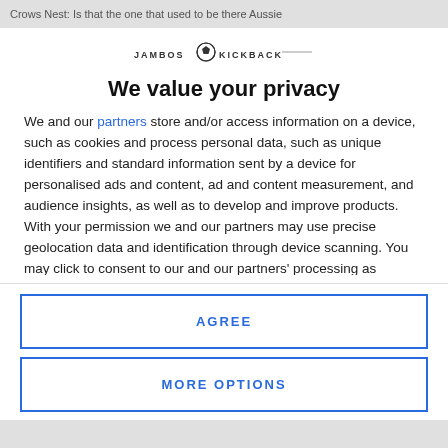Crows Nest: Is that the one that used to be there Aussie
[Figure (logo): Jambos Kickback logo with soccer ball icon and horizontal line]
We value your privacy
We and our partners store and/or access information on a device, such as cookies and process personal data, such as unique identifiers and standard information sent by a device for personalised ads and content, ad and content measurement, and audience insights, as well as to develop and improve products. With your permission we and our partners may use precise geolocation data and identification through device scanning. You may click to consent to our and our partners' processing as described above. Alternatively you may access more detailed information and change your preferences before consenting or to refuse consenting. Please note that some processing of your
AGREE
MORE OPTIONS